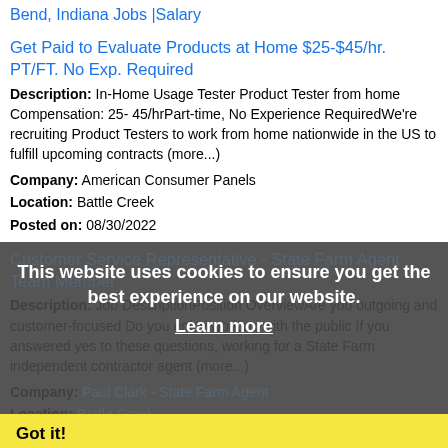Bend, Indiana Jobs |Salary
Get Paid to Evaluate Products at Home $25-$45/hr. PT/FT. No Exp. Required
Description: In-Home Usage Tester Product Tester from home Compensation: 25- 45/hrPart-time, No Experience RequiredWe're recruiting Product Testers to work from home nationwide in the US to fulfill upcoming contracts (more...)
Company: American Consumer Panels
Location: Battle Creek
Posted on: 08/30/2022
Customer Service Representative - State Farm Agent Team Member
Description: Job DescriptionPosition OverviewAre you outgoing and customer-focused Do you enjoy working with the public If you answered yes to these questions, working for a State Farm independent contractor agent (more...)
Company: Paul Clark - State Farm Agent
Location: Battle Creek
Posted on: 08/30/2022
This website uses cookies to ensure you get the best experience on our website.
Learn more
Got it!
RN - Hospice - Nights 7on 7off